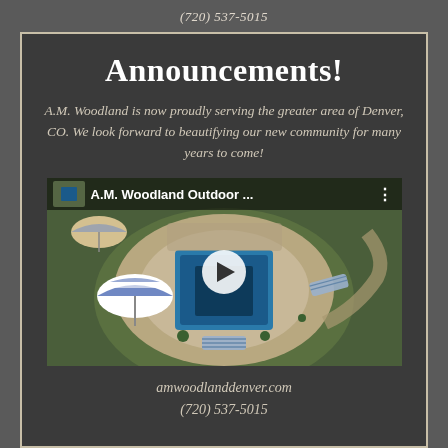(720) 537-5015
Announcements!
A.M. Woodland is now proudly serving the greater area of Denver, CO. We look forward to beautifying our new community for many years to come!
[Figure (screenshot): Video thumbnail showing aerial view of a pool area with patio, lounge chairs, and striped umbrellas. Title bar reads 'A.M. Woodland Outdoor ...' with a play button in the center.]
amwoodlanddenver.com
(720) 537-5015